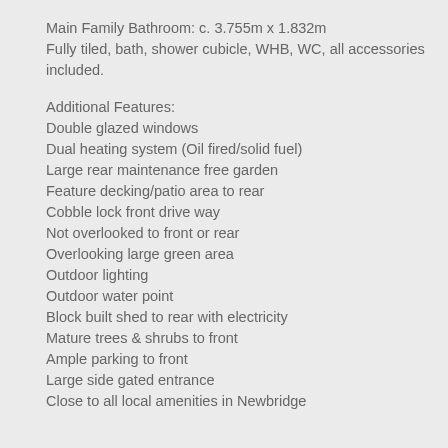Main Family Bathroom: c. 3.755m x 1.832m
Fully tiled, bath, shower cubicle, WHB, WC, all accessories included.
Additional Features:
Double glazed windows
Dual heating system (Oil fired/solid fuel)
Large rear maintenance free garden
Feature decking/patio area to rear
Cobble lock front drive way
Not overlooked to front or rear
Overlooking large green area
Outdoor lighting
Outdoor water point
Block built shed to rear with electricity
Mature trees & shrubs to front
Ample parking to front
Large side gated entrance
Close to all local amenities in Newbridge